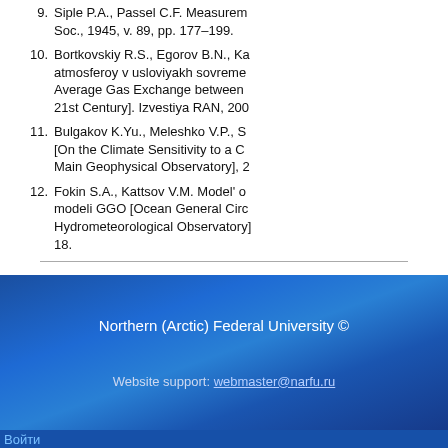9. Siple P.A., Passel C.F. Measurements of dry atmospheric cooling in subfreezing temperatures. Proc. Am. Phil. Soc., 1945, v. 89, pp. 177–199.
10. Bortkovskiy R.S., Egorov B.N., Ka... atmosferoy v usloviyakh sovremen... Average Gas Exchange between... 21st Century]. Izvestiya RAN, 200...
11. Bulgakov K.Yu., Meleshko V.P., S... [On the Climate Sensitivity to a C... Main Geophysical Observatory], 2...
12. Fokin S.A., Kattsov V.M. Model' o... modeli GGO [Ocean General Circ... Hydrometeorological Observatory]... 18.
Northern (Arctic) Federal University ©
Website support: webmaster@narfu.ru
Войти